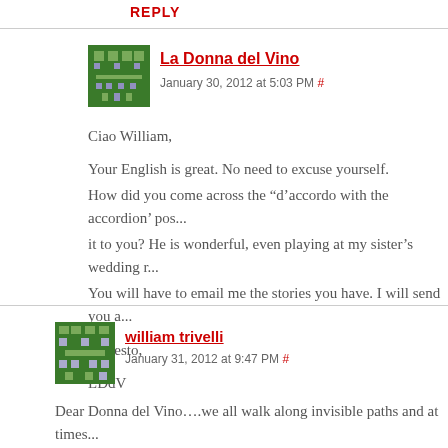REPLY
[Figure (illustration): Green pixel/blocky avatar for La Donna del Vino]
La Donna del Vino
January 30, 2012 at 5:03 PM #
Ciao William,

Your English is great. No need to excuse yourself.
How did you come across the “d’accordo with the accordion’ pos... it to you? He is wonderful, even playing at my sister’s wedding r... You will have to email me the stories you have. I will send you a...

A presto,

LDdV
[Figure (illustration): Green pixel/blocky avatar for william trivelli]
william trivelli
January 31, 2012 at 9:47 PM #
Dear Donna del Vino....we all walk along invisible paths and at times... I'll write you an email and tell you a few things of the past. Anyway k...